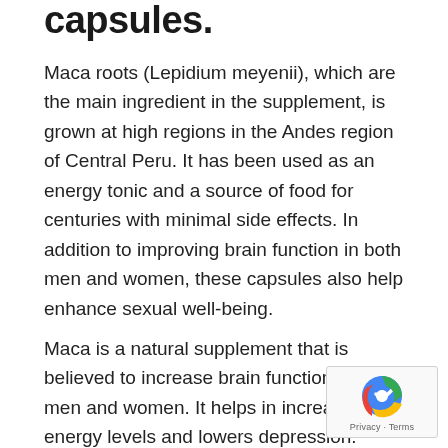capsules.
Maca roots (Lepidium meyenii), which are the main ingredient in the supplement, is grown at high regions in the Andes region of Central Peru. It has been used as an energy tonic and a source of food for centuries with minimal side effects. In addition to improving brain function in both men and women, these capsules also help enhance sexual well-being.
Maca is a natural supplement that is believed to increase brain function in both men and women. It helps in increasing energy levels and lowers depression. Since